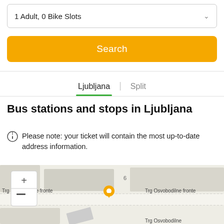1 Adult, 0 Bike Slots
Search
Ljubljana | Split
Bus stations and stops in Ljubljana
Please note: your ticket will contain the most up-to-date address information.
[Figure (map): Street map showing Trg Osvobodilne fronte area in Ljubljana with a location pin marker and map zoom controls (+ and -)]